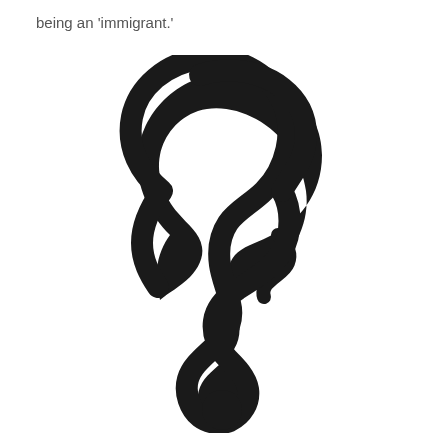being an 'immigrant.'
[Figure (illustration): A black silhouette combining a human head profile (facing right) with the shape of a question mark. The curved top of the question mark forms the top and back of the head, while the right side forms the face profile with visible facial features. The bottom curl of the question mark forms the chin/neck area, and a solid black dot appears below.]